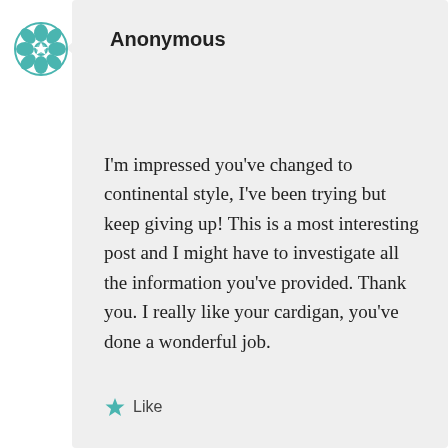[Figure (logo): Teal decorative geometric/floral cross logo (avatar)]
Anonymous
I'm impressed you've changed to continental style, I've been trying but keep giving up! This is a most interesting post and I might have to investigate all the information you've provided. Thank you. I really like your cardigan, you've done a wonderful job.
Like